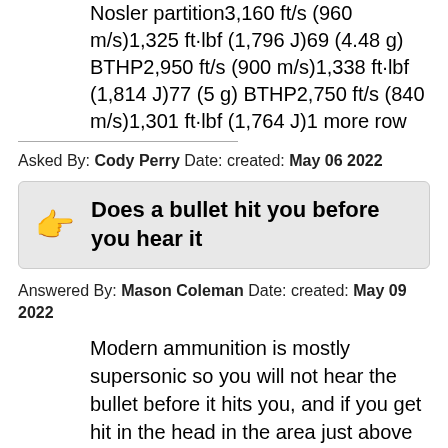Nosler partition3,160 ft/s (960 m/s)1,325 ft·lbf (1,796 J)69 (4.48 g) BTHP2,950 ft/s (900 m/s)1,338 ft·lbf (1,814 J)77 (5 g) BTHP2,750 ft/s (840 m/s)1,301 ft·lbf (1,764 J)1 more row
Asked By: Cody Perry Date: created: May 06 2022
Does a bullet hit you before you hear it
Answered By: Mason Coleman Date: created: May 09 2022
Modern ammunition is mostly supersonic so you will not hear the bullet before it hits you, and if you get hit in the head in the area just above your spinal cord and between your eyes, death will be instantaneous, so